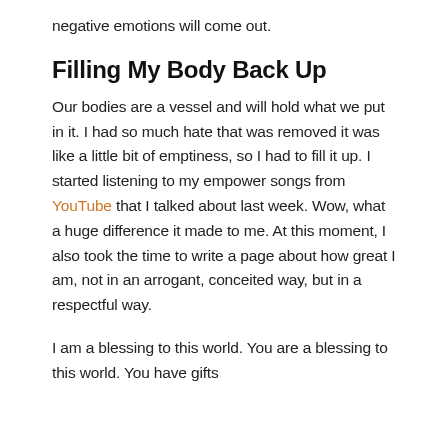negative emotions will come out.
Filling My Body Back Up
Our bodies are a vessel and will hold what we put in it. I had so much hate that was removed it was like a little bit of emptiness, so I had to fill it up. I started listening to my empower songs from YouTube that I talked about last week. Wow, what a huge difference it made to me. At this moment, I also took the time to write a page about how great I am, not in an arrogant, conceited way, but in a respectful way.
I am a blessing to this world. You are a blessing to this world. You have gifts